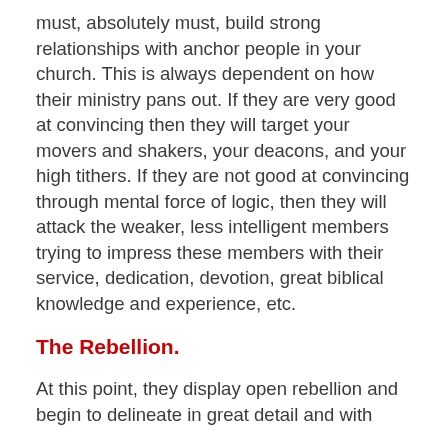must, absolutely must, build strong relationships with anchor people in your church. This is always dependent on how their ministry pans out. If they are very good at convincing then they will target your movers and shakers, your deacons, and your high tithers. If they are not good at convincing through mental force of logic, then they will attack the weaker, less intelligent members trying to impress these members with their service, dedication, devotion, great biblical knowledge and experience, etc.
The Rebellion.
At this point, they display open rebellion and begin to delineate in great detail and with